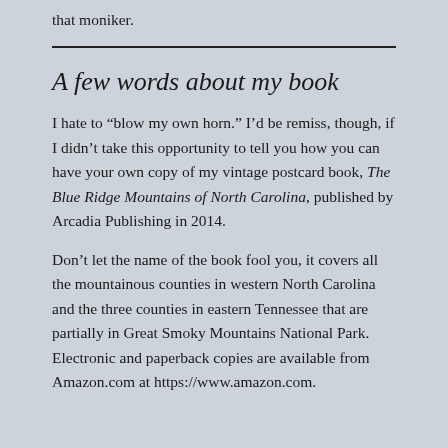that moniker.
A few words about my book
I hate to “blow my own horn.” I’d be remiss, though, if I didn’t take this opportunity to tell you how you can have your own copy of my vintage postcard book, The Blue Ridge Mountains of North Carolina, published by Arcadia Publishing in 2014.
Don’t let the name of the book fool you, it covers all the mountainous counties in western North Carolina and the three counties in eastern Tennessee that are partially in Great Smoky Mountains National Park. Electronic and paperback copies are available from Amazon.com at https://www.amazon.com.